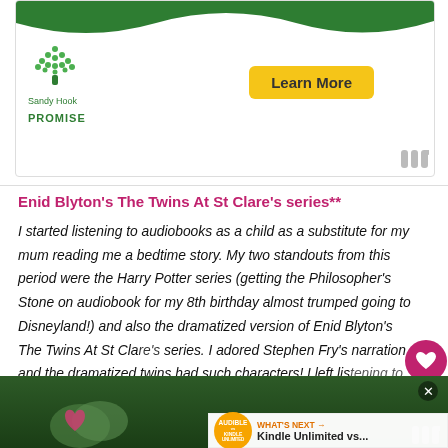[Figure (infographic): Sandy Hook Promise advertisement banner with green wave at top, tree logo on left, and yellow 'Learn More' button on right]
Enid Blyton's The Twins At St Clare's series**
I started listening to audiobooks as a child as a substitute for my mum reading me a bedtime story. My two standouts from this period were the Harry Potter series (getting the Philosopher's Stone on audiobook for my 8th birthday almost trumped going to Disneyland!) and also the dramatized version of Enid Blyton's The Twins At St Clare's series. I adored Stephen Fry's narration and the dramatized twins had such characters! I left listening to audiobooks for a few years, but since discovering BorrowBox through my local library, I'm addicted again!
[Figure (infographic): Bottom advertisement banner with green background showing 'LOVE > HATE' text in white, with a heart-hands image]
[Figure (infographic): Audible Kindle Unlimited 'What's Next' promotional widget showing Kindle Unlimited vs... comparison]